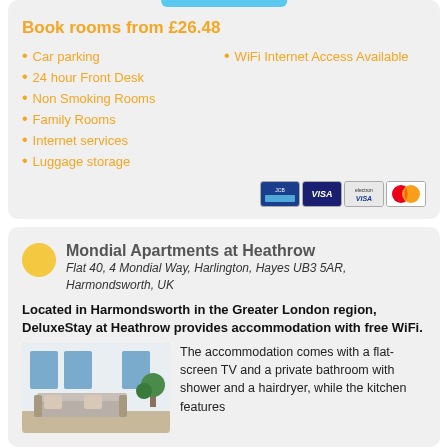Reservations
Book rooms from £26.48
Car parking
24 hour Front Desk
Non Smoking Rooms
Family Rooms
Internet services
Luggage storage
WiFi Internet Access Available
[Figure (logo): Payment card icons: JCB, Visa, Electron, Mastercard]
Mondial Apartments at Heathrow
Flat 40, 4 Mondial Way, Harlington, Hayes UB3 5AR, Harmondsworth, UK
Located in Harmondsworth in the Greater London region, DeluxeStay at Heathrow provides accommodation with free WiFi.
[Figure (photo): Interior photo of a modern apartment living room with sofa and windows]
The accommodation comes with a flat-screen TV and a private bathroom with shower and a hairdryer, while the kitchen features